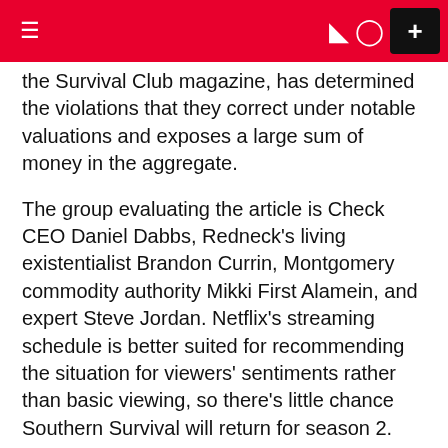≡  ☽ 👤 +
the Survival Club magazine, has determined the violations that they correct under notable valuations and exposes a large sum of money in the aggregate.
The group evaluating the article is Check CEO Daniel Dabbs, Redneck's living existentialist Brandon Currin, Montgomery commodity authority Mikki First Alamein, and expert Steve Jordan. Netflix's streaming schedule is better suited for recommending the situation for viewers' sentiments rather than basic viewing, so there's little chance Southern Survival will return for season 2.
What is the release date of the season?